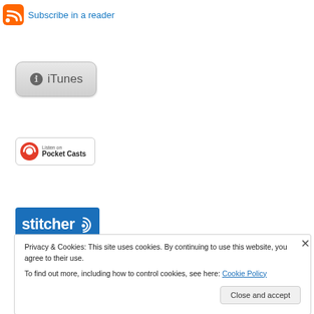[Figure (logo): RSS feed icon (orange) with 'Subscribe in a reader' link]
[Figure (logo): Apple iTunes button with Apple logo and 'iTunes' text]
[Figure (logo): Pocket Casts 'Listen on' badge with red circular icon]
[Figure (logo): Stitcher blue button with stitcher logo and radio wave icon]
Privacy & Cookies: This site uses cookies. By continuing to use this website, you agree to their use.
To find out more, including how to control cookies, see here: Cookie Policy
Close and accept